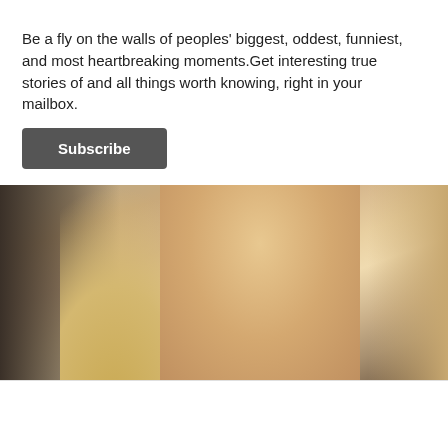Be a fly on the walls of peoples' biggest, oddest, funniest, and most heartbreaking moments.Get interesting true stories of and all things worth knowing, right in your mailbox.
Subscribe
[Figure (photo): Close-up photo of a smiling blonde woman with wavy hair, wearing dark clothing, styled glamour shot.]
Stunningly Beautiful Girls from Ashburn Who Happen to Be Single
perfect-dating.com